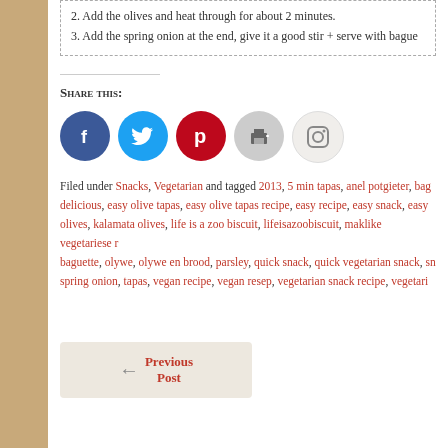2. Add the olives and heat through for about 2 minutes.
3. Add the spring onion at the end, give it a good stir + serve with bague...
Share this:
[Figure (infographic): Social media share icons: Facebook (blue circle), Twitter (light blue circle), Pinterest (red circle), Print (grey circle), Instagram (light grey circle)]
Filed under Snacks, Vegetarian and tagged 2013, 5 min tapas, anel potgieter, bag..., delicious, easy olive tapas, easy olive tapas recipe, easy recipe, easy snack, easy..., olives, kalamata olives, life is a zoo biscuit, lifeisazoobiscuit, maklike vegetariese r..., baguette, olywe, olywe en brood, parsley, quick snack, quick vegetarian snack, sn..., spring onion, tapas, vegan recipe, vegan resep, vegetarian snack recipe, vegetari...
Previous Post